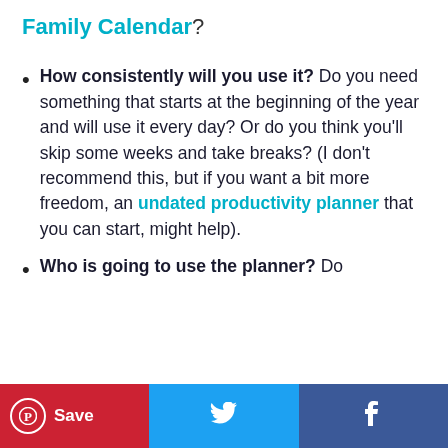Family Calendar?
How consistently will you use it? Do you need something that starts at the beginning of the year and will use it every day? Or do you think you'll skip some weeks and take breaks? (I don't recommend this, but if you want a bit more freedom, an undated productivity planner that you can start, might help).
Who is going to use the planner? Do
Save  [Twitter icon]  [Facebook icon]